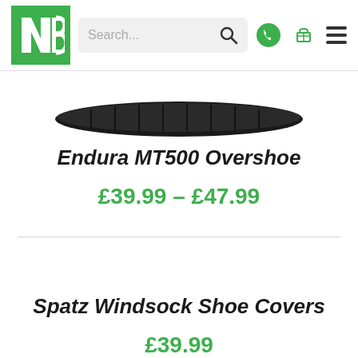[Figure (screenshot): Website header with green NB logo, search bar, phone icon, cart icon, and hamburger menu]
[Figure (photo): Bottom portion of a dark/black cycling overshoe product image]
Endura MT500 Overshoe
£39.99 – £47.99
Spatz Windsock Shoe Covers
£39.99